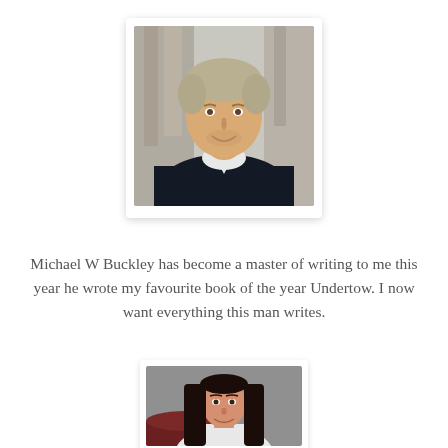[Figure (photo): Portrait photo of a man with short blonde/grey hair wearing a dark navy sweater over a white collared shirt, smiling, with a stone architectural background. Photo is displayed with a white polaroid-style border and drop shadow.]
Michael W Buckley has become a master of writing to me this year he wrote my favourite book of the year Undertow. I now want everything this man writes.
[Figure (photo): Portrait photo of a woman with long dark brown straight hair, wearing a white top, smiling, seated in front of a grey background. Photo is displayed with a white border and drop shadow.]